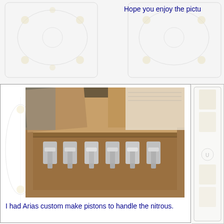Hope you enjoy the pictu
[Figure (photo): Open cardboard box containing custom Arias pistons with connecting rods, arranged in a row inside the box, photographed from above on what appears to be a garage or workshop floor.]
I had Arias custom make pistons to handle the nitrous.
[Figure (photo): Person wearing a grey cap and dark shirt working at a workbench in a garage or home workshop, with shelves of bottles and equipment visible in the background.]